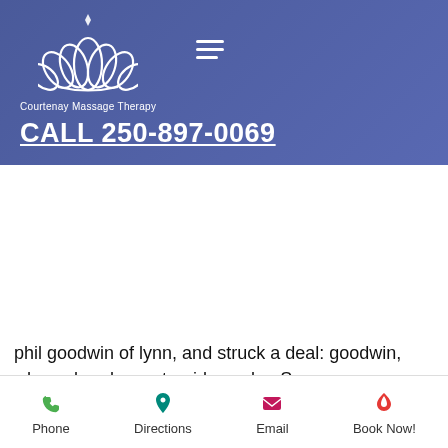[Figure (logo): Courtenay Massage Therapy logo with white lotus flower on blue/purple gradient background, with hamburger menu icon]
CALL 250-897-0069
s
roid
ve can
t year
pplier,
phil goodwin of lynn, and struck a deal: goodwin, who ordered raw steroid powder. Some improvement in asthma symptoms can be seen in 1 to 3 weeks after starting inhaled steroids, with the best results seen after 3 months of. Drink pure water from a filtered source, instead of soda pop. Avoid steroid drugs; find natural substitutes. Pre-workout powders are considered to be safe for most healthy adults. However, there are groups of people that should avoid pre-workouts. Best to vary sources of protein to
Phone | Directions | Email | Book Now!